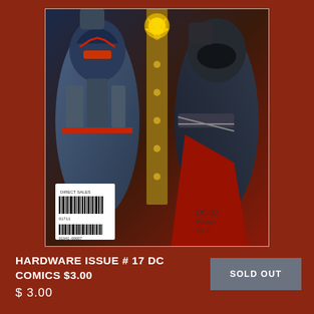[Figure (illustration): Comic book cover for Hardware Issue #17 DC Comics showing two armored superhero characters in combat, with a barcode sticker visible at bottom left of the cover. Artist signatures visible at bottom right reading D.C. 92, Palmer, J.G.T.]
HARDWARE ISSUE # 17 DC COMICS $3.00
$ 3.00
SOLD OUT